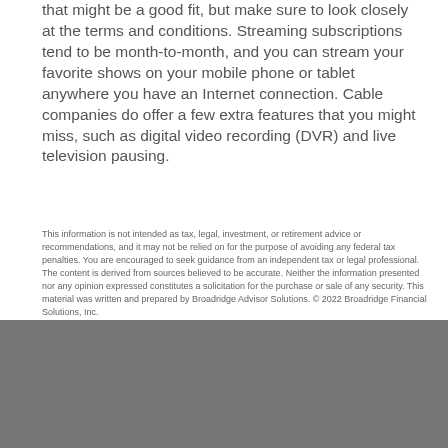that might be a good fit, but make sure to look closely at the terms and conditions. Streaming subscriptions tend to be month-to-month, and you can stream your favorite shows on your mobile phone or tablet anywhere you have an Internet connection. Cable companies do offer a few extra features that you might miss, such as digital video recording (DVR) and live television pausing.
This information is not intended as tax, legal, investment, or retirement advice or recommendations, and it may not be relied on for the purpose of avoiding any federal tax penalties. You are encouraged to seek guidance from an independent tax or legal professional. The content is derived from sources believed to be accurate. Neither the information presented nor any opinion expressed constitutes a solicitation for the purchase or sale of any security. This material was written and prepared by Broadridge Advisor Solutions. © 2022 Broadridge Financial Solutions, Inc.